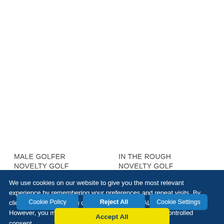MALE GOLFER NOVELTY GOLF TROPHY
IN THE ROUGH NOVELTY GOLF TROPHY
We use cookies on our website to give you the most relevant experience by remembering your preferences and repeat visits. By clicking "Accept All", you consent to the use of ALL the cookies. However, you may visit "Cookie Settings" to provide a controlled consent.
Cookie Policy
Reject All
Cookie Settings
Accept All